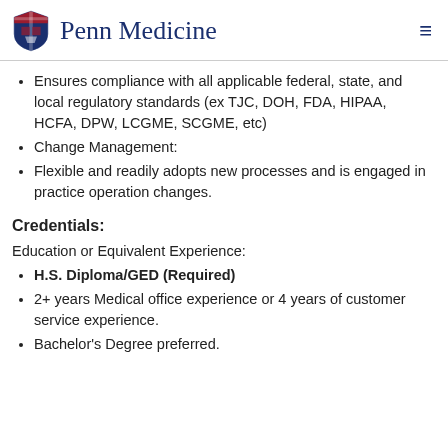Penn Medicine
Ensures compliance with all applicable federal, state, and local regulatory standards (ex TJC, DOH, FDA, HIPAA, HCFA, DPW, LCGME, SCGME, etc)
Change Management:
Flexible and readily adopts new processes and is engaged in practice operation changes.
Credentials:
Education or Equivalent Experience:
H.S. Diploma/GED (Required)
2+ years Medical office experience or 4 years of customer service experience.
Bachelor's Degree preferred.